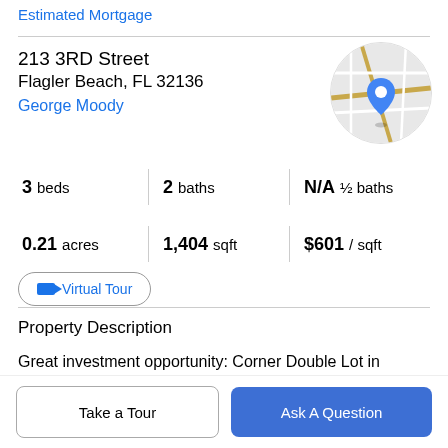Estimated Mortgage
213 3RD Street
Flagler Beach, FL 32136
George Moody
[Figure (map): Circular map thumbnail showing street map with blue location pin marker]
3 beds | 2 baths | N/A ½ baths
0.21 acres | 1,404 sqft | $601 / sqft
Virtual Tour
Property Description
Great investment opportunity: Corner Double Lot in downtown Flagler Beach with General Commercial
Take a Tour
Ask A Question